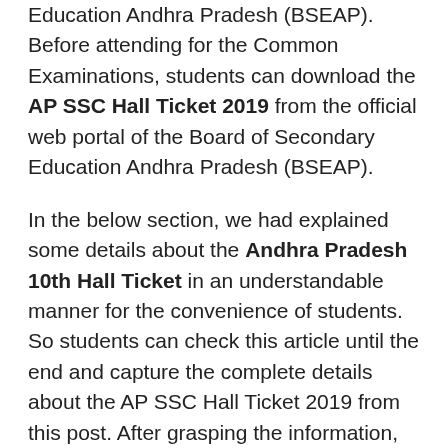Education Andhra Pradesh (BSEAP). Before attending for the Common Examinations, students can download the AP SSC Hall Ticket 2019 from the official web portal of the Board of Secondary Education Andhra Pradesh (BSEAP).
In the below section, we had explained some details about the Andhra Pradesh 10th Hall Ticket in an understandable manner for the convenience of students. So students can check this article until the end and capture the complete details about the AP SSC Hall Ticket 2019 from this post. After grasping the information, students easily download Andhra Pradesh 10th Hall Ticket through the official web portal of the Board of Secondary Education Andhra Pradesh (BSEAP).